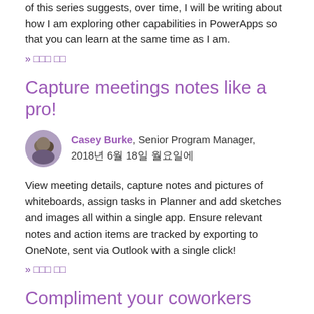of this series suggests, over time, I will be writing about how I am exploring other capabilities in PowerApps so that you can learn at the same time as I am.
» 더보기 읽기
Capture meetings notes like a pro!
[Figure (photo): Profile photo of Casey Burke]
Casey Burke, Senior Program Manager, 2018년 6월 18일 월요일에
View meeting details, capture notes and pictures of whiteboards, assign tasks in Planner and add sketches and images all within a single app. Ensure relevant notes and action items are tracked by exporting to OneNote, sent via Outlook with a single click!
» 더보기 읽기
Compliment your coworkers